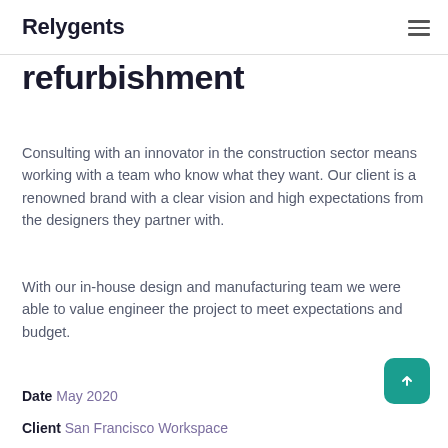Relygents
refurbishment
Consulting with an innovator in the construction sector means working with a team who know what they want. Our client is a renowned brand with a clear vision and high expectations from the designers they partner with.
With our in-house design and manufacturing team we were able to value engineer the project to meet expectations and budget.
Date May 2020
Client San Francisco Workspace